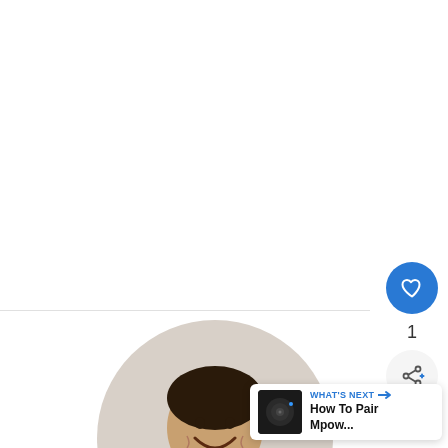[Figure (photo): Circular profile photo of a smiling man playing a ukulele or small guitar, wearing a white t-shirt and dark vest, with a blurred background]
[Figure (infographic): Blue circular like/heart button with count of 1, and a light gray circular share button below it on the right side]
[Figure (infographic): What's Next card in bottom right corner showing a dark Bluetooth speaker thumbnail, label 'WHAT'S NEXT →' in blue, and title 'How To Pair Mpow...']